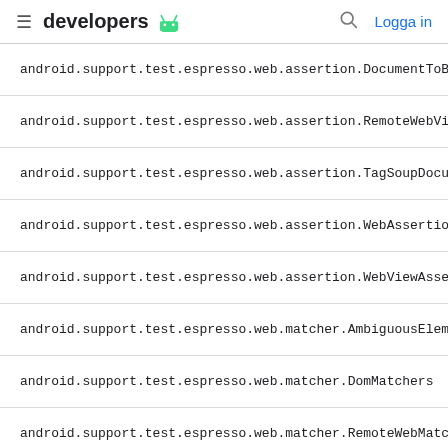developers [android logo] | [search] Logga in
android.support.test.espresso.web.assertion.DocumentToByteS
android.support.test.espresso.web.assertion.RemoteWebViewA
android.support.test.espresso.web.assertion.TagSoupDocumen
android.support.test.espresso.web.assertion.WebAssertion
android.support.test.espresso.web.assertion.WebViewAssertion
android.support.test.espresso.web.matcher.AmbiguousElement
android.support.test.espresso.web.matcher.DomMatchers
android.support.test.espresso.web.matcher.RemoteWebMatche